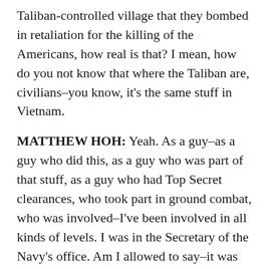Taliban-controlled village that they bombed in retaliation for the killing of the Americans, how real is that? I mean, how do you not know that where the Taliban are, civilians–you know, it's the same stuff in Vietnam.
MATTHEW HOH: Yeah. As a guy–as a guy who did this, as a guy who was part of that stuff, as a guy who had Top Secret clearances, who took part in ground combat, who was involved–I've been involved in all kinds of levels. I was in the Secretary of the Navy's office. Am I allowed to say–it was complete fucking bullshit. Can I say that on The Real News? I mean, like-
MARC STEINER: That describes it succinctly.